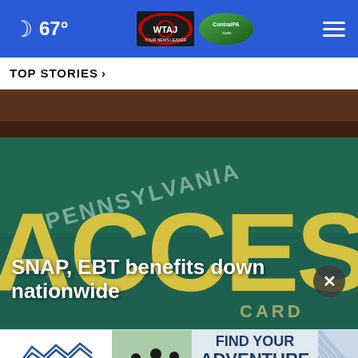67° WTAJ CentralPA.com
TOP STORIES »
[Figure (photo): Close-up photo of a Pennsylvania ACCESS Card (EBT/SNAP card) showing green card with yellow text reading 'PENNSYLVANIA ACCESS CARD']
SNAP, EBT benefits down nationwide
[Figure (infographic): Advertisement banner for Pocono Mountains: 'FIND YOUR ADVENTURE - PLAN NOW' with logo and people hiking image]